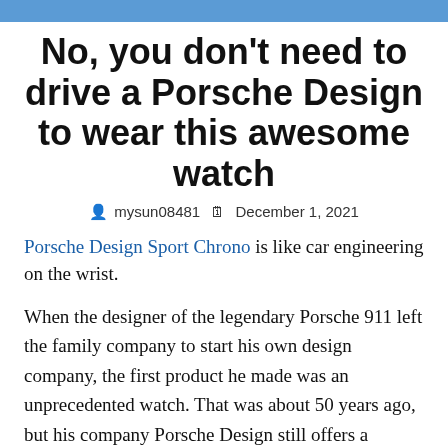No, you don't need to drive a Porsche Design to wear this awesome watch
mysun08481  December 1, 2021
Porsche Design Sport Chrono is like car engineering on the wrist.
When the designer of the legendary Porsche 911 left the family company to start his own design company, the first product he made was an unprecedented watch. That was about 50 years ago, but his company Porsche Design still offers a convincing combination of car manufacturer and watchmaker credibility, unique–all of which are